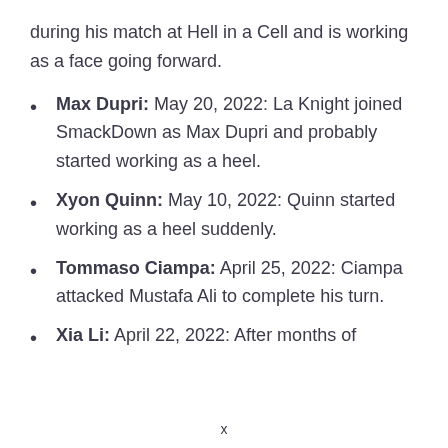during his match at Hell in a Cell and is working as a face going forward.
Max Dupri: May 20, 2022: La Knight joined SmackDown as Max Dupri and probably started working as a heel.
Xyon Quinn: May 10, 2022: Quinn started working as a heel suddenly.
Tommaso Ciampa: April 25, 2022: Ciampa attacked Mustafa Ali to complete his turn.
Xia Li: April 22, 2022: After months of
x